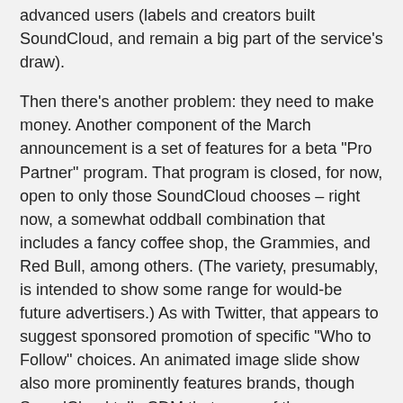advanced users (labels and creators built SoundCloud, and remain a big part of the service's draw).
Then there's another problem: they need to make money. Another component of the March announcement is a set of features for a beta "Pro Partner" program. That program is closed, for now, open to only those SoundCloud chooses – right now, a somewhat oddball combination that includes a fancy coffee shop, the Grammies, and Red Bull, among others. (The variety, presumably, is intended to show some range for would-be future advertisers.) As with Twitter, that appears to suggest sponsored promotion of specific "Who to Follow" choices. An animated image slide show also more prominently features brands, though SoundCloud tells CDM that some of those features could be offered to us everyday, non-partner users in the future.
GigaOm, while taking a jab at the mixed success of